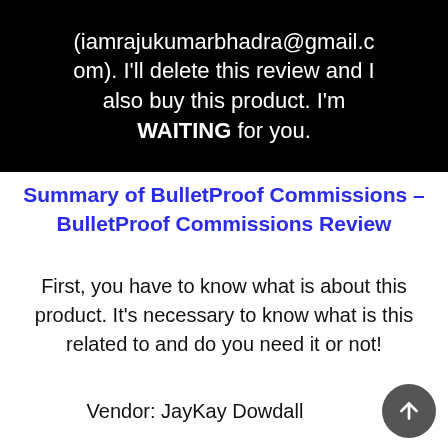(iamrajukumarbhadra@gmail.com). I'll delete this review and I also buy this product. I'm WAITING for you.
Summary of BulletProof Commissions – BulletProof Commissions Review
First, you have to know what is about this product. It's necessary to know what is this related to and do you need it or not!
Vendor: JayKay Dowdall